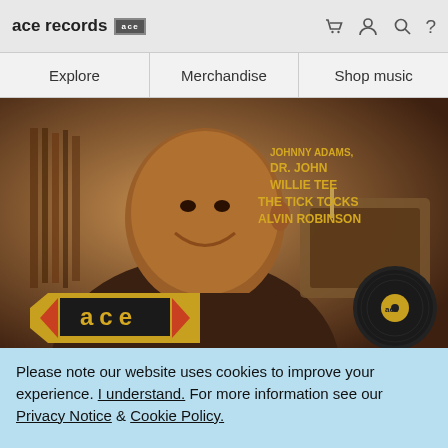ace records [logo] [cart] [user] [search] [?]
Explore
Merchandise
Shop music
[Figure (photo): Sepia-toned album cover showing a smiling man near a record player with text: DR. JOHN, WILLIE TEE, THE TICK TOCKS, ALVIN ROBINSON. Ace Records logo visible bottom left and bottom right.]
Please note our website uses cookies to improve your experience. I understand. For more information see our Privacy Notice & Cookie Policy.